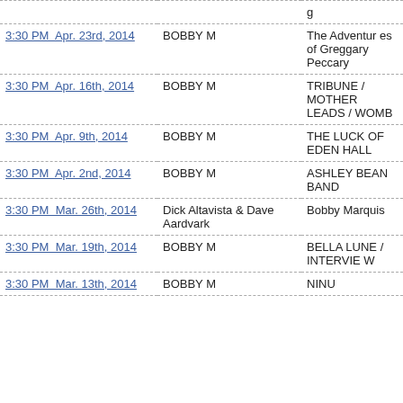| Date/Time | Host | Show |
| --- | --- | --- |
| 3:30 PM  Apr. 23rd, 2014 | BOBBY M | The Adventures of Greggary Peccary |
| 3:30 PM  Apr. 16th, 2014 | BOBBY M | TRIBUNE / MOTHER LEADS / WOMB |
| 3:30 PM  Apr. 9th, 2014 | BOBBY M | THE LUCK OF EDEN HALL |
| 3:30 PM  Apr. 2nd, 2014 | BOBBY M | ASHLEY BEAN BAND |
| 3:30 PM  Mar. 26th, 2014 | Dick Altavista & Dave Aardvark | Bobby Marquis |
| 3:30 PM  Mar. 19th, 2014 | BOBBY M | BELLA LUNE / INTERVIEW |
| 3:30 PM  Mar. 13th, 2014 | BOBBY M | NINU |